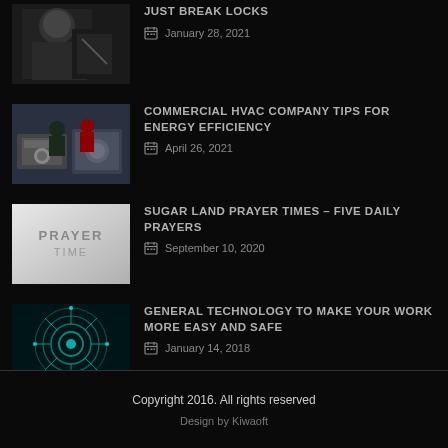JUST BREAK LOCKS
January 28, 2021
COMMERCIAL HVAC COMPANY TIPS FOR ENERGY EFFICIENCY
April 26, 2021
SUGAR LAND PRAYER TIMES – FIVE DAILY PRAYERS
September 10, 2020
GENERAL TECHNOLOGY TO MAKE YOUR WORK MORE EASY AND SAFE
January 14, 2018
Copyright 2016. All rights reserved
Design by Kiwaoft